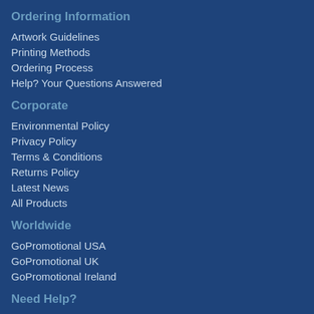Ordering Information
Artwork Guidelines
Printing Methods
Ordering Process
Help? Your Questions Answered
Corporate
Environmental Policy
Privacy Policy
Terms & Conditions
Returns Policy
Latest News
All Products
Worldwide
GoPromotional USA
GoPromotional UK
GoPromotional Ireland
Need Help?